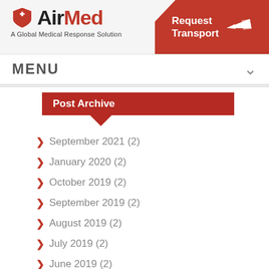[Figure (logo): AirMed logo with shield icon and tagline 'A Global Medical Response Solution']
[Figure (other): Red 'Request Transport' button with airplane icon in top right corner]
MENU
Post Archive
> September 2021 (2)
> January 2020 (2)
> October 2019 (2)
> September 2019 (2)
> August 2019 (2)
> July 2019 (2)
> June 2019 (2)
> May 2019 (2)